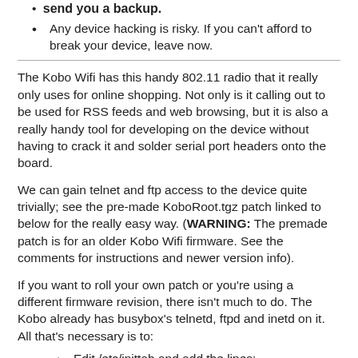Any device hacking is risky. If you can't afford to break your device, leave now.
The Kobo Wifi has this handy 802.11 radio that it really only uses for online shopping. Not only is it calling out to be used for RSS feeds and web browsing, but it is also a really handy tool for developing on the device without having to crack it and solder serial port headers onto the board.
We can gain telnet and ftp access to the device quite trivially; see the pre-made KoboRoot.tgz patch linked to below for the really easy way. (WARNING: The premade patch is for an older Kobo Wifi firmware. See the comments for instructions and newer version info).
If you want to roll your own patch or you're using a different firmware revision, there isn't much to do. The Kobo already has busybox's telnetd, ftpd and inetd on it. All that's necessary is to:
Edit /etc/inittab and add the lines: